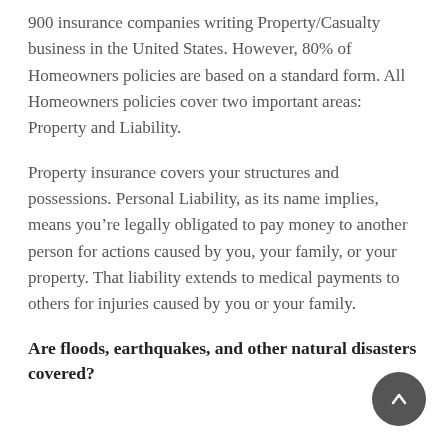900 insurance companies writing Property/Casualty business in the United States. However, 80% of Homeowners policies are based on a standard form. All Homeowners policies cover two important areas: Property and Liability.
Property insurance covers your structures and possessions. Personal Liability, as its name implies, means you're legally obligated to pay money to another person for actions caused by you, your family, or your property. That liability extends to medical payments to others for injuries caused by you or your family.
Are floods, earthquakes, and other natural disasters covered?